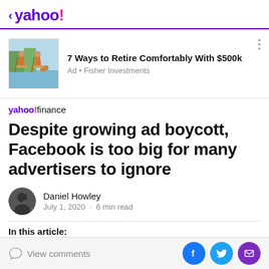< yahoo!
[Figure (illustration): Ad banner: two people on paddleboards with a dog, outdoor scene]
7 Ways to Retire Comfortably With $500k
Ad • Fisher Investments
yahoo!finance
Despite growing ad boycott, Facebook is too big for many advertisers to ignore
Daniel Howley
July 1, 2020 · 6 min read
In this article:
View comments